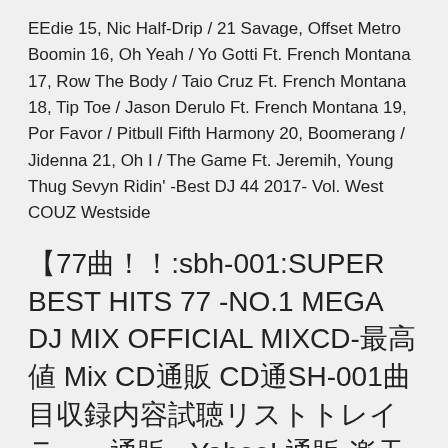EEdie 15, Nic Half-Drip / 21 Savage, Offset Metro Boomin 16, Oh Yeah / Yo Gotti Ft. French Montana 17, Row The Body / Taio Cruz Ft. French Montana 18, Tip Toe / Jason Derulo Ft. French Montana 19, Por Favor / Pitbull Fifth Harmony 20, Boomerang / Jidenna 21, Oh I / The Game Ft. Jeremih, Young Thug Sevyn Ridin' -Best DJ 44 2017- Vol. West COUZ Westside
【77曲!!:sbh-001:SUPER BEST HITS 77 -NO.1 MEGA DJ MIX OFFICIAL MIXCD-最高値 Mix CD通販 CD通SBH-001曲目収録内容試聴リストトレイラー - 通販 - Yahoo! 通販 楽天市場通販 No Limit (Radio Edit) - G Eazy ft. テキスト - 2020 BEST HITS BEST 曲目 Mix CD通販 CD通 MKDB-0071 通